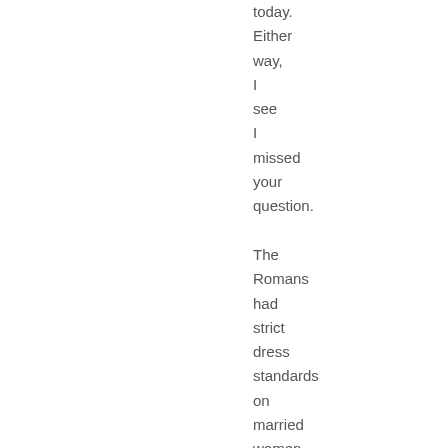today. Either way, I see I missed your question. The Romans had strict dress standards on married women (less so on unmarried women, but I don't know